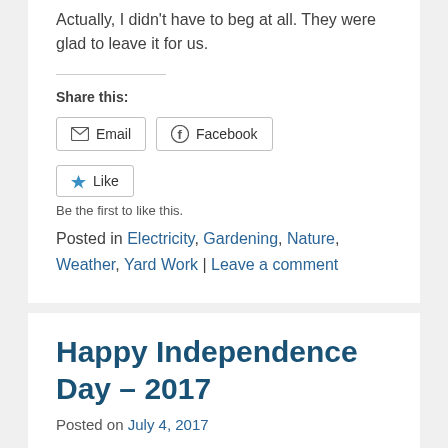Actually, I didn't have to beg at all. They were glad to leave it for us.
Share this:
[Figure (other): Share buttons: Email and Facebook]
[Figure (other): Like button]
Be the first to like this.
Posted in Electricity, Gardening, Nature, Weather, Yard Work | Leave a comment
Happy Independence Day – 2017
Posted on July 4, 2017